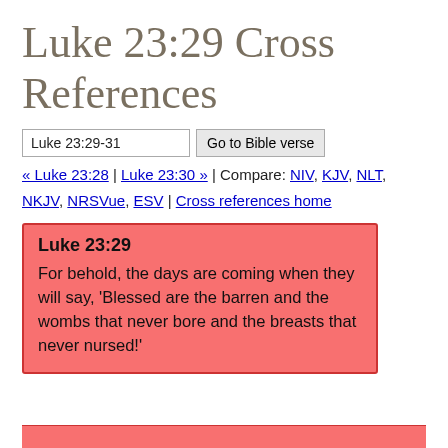Luke 23:29 Cross References
Luke 23:29-31  [Go to Bible verse]
« Luke 23:28 | Luke 23:30 » | Compare: NIV, KJV, NLT, NKJV, NRSVue, ESV | Cross references home
Luke 23:29
For behold, the days are coming when they will say, ‘Blessed are the barren and the wombs that never bore and the breasts that never nursed!’